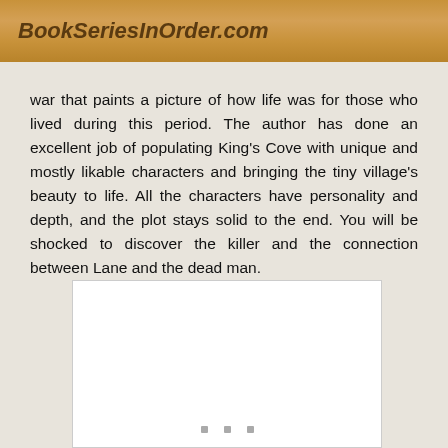BookSeriesInOrder.com
war that paints a picture of how life was for those who lived during this period. The author has done an excellent job of populating King's Cove with unique and mostly likable characters and bringing the tiny village's beauty to life. All the characters have personality and depth, and the plot stays solid to the end. You will be shocked to discover the killer and the connection between Lane and the dead man.
[Figure (other): White rectangular image placeholder with three small gray square dots at the bottom center, indicating a loading or placeholder image.]